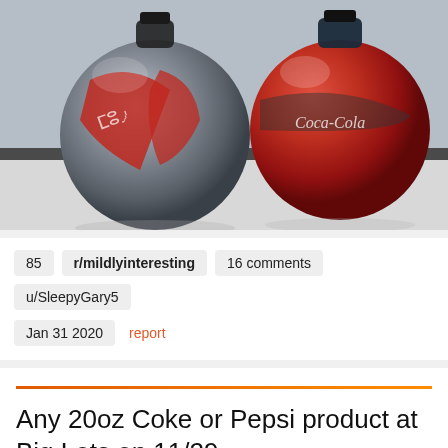[Figure (photo): Two spherical Coca-Cola branded bottles with futuristic design, one metallic gray and one red, sitting on a white surface]
85  r/mildlyinteresting  16 comments  u/SleepyGary5
Jan 31 2020  report
Any 20oz Coke or Pepsi product at Big Lots on 11/29
BIG REWARDS MEMBERS!